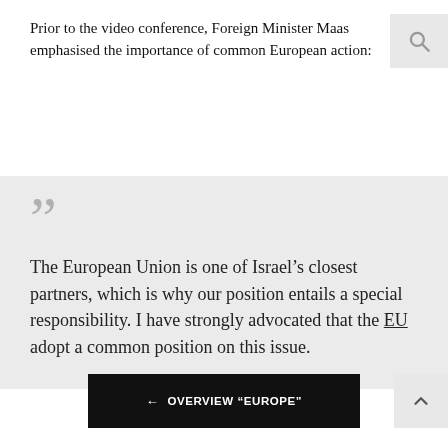Prior to the video conference, Foreign Minister Maas emphasised the importance of common European action:
The European Union is one of Israel's closest partners, which is why our position entails a special responsibility. I have strongly advocated that the EU adopt a common position on this issue.
← OVERVIEW "EUROPE"